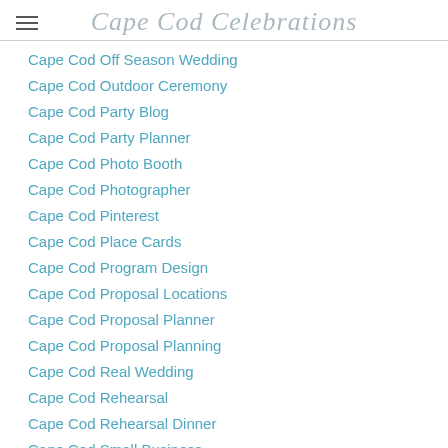Cape Cod Celebrations
Cape Cod Off Season Wedding
Cape Cod Outdoor Ceremony
Cape Cod Party Blog
Cape Cod Party Planner
Cape Cod Photo Booth
Cape Cod Photographer
Cape Cod Pinterest
Cape Cod Place Cards
Cape Cod Program Design
Cape Cod Proposal Locations
Cape Cod Proposal Planner
Cape Cod Proposal Planning
Cape Cod Real Wedding
Cape Cod Rehearsal
Cape Cod Rehearsal Dinner
Cape Cod Small Business
Cape Cod Small Business Owner Of The Year 2014